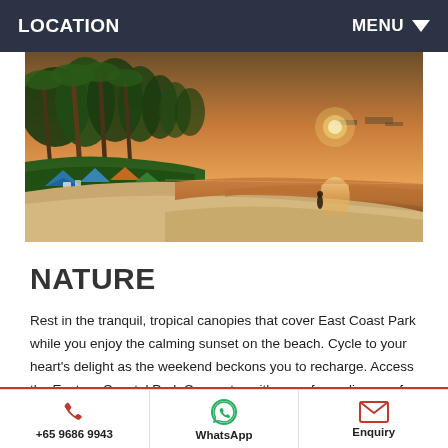LOCATION    MENU
[Figure (photo): Sunset beach scene at East Coast Park, Singapore. Left side shows tropical palm trees, colorful tents/camping area on grass. Center and right shows sandy beach with a solitary figure walking, calm ocean water reflecting orange and golden sunset light.]
NATURE
Rest in the tranquil, tropical canopies that cover East Coast Park while you enjoy the calming sunset on the beach. Cycle to your heart's delight as the weekend beckons you to recharge. Access the Eastern Coastal Park Connector with ease for a glimpse of Singapore's lush, urban landscaping.
Nearby Amenities
+65 9686 9943    WhatsApp    Enquiry